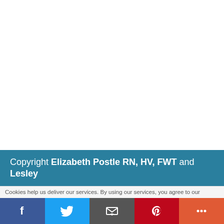Copyright Elizabeth Postle RN, HV, FWT and Lesley
Cookies help us deliver our services. By using our services, you agree to our
[Figure (infographic): Social sharing buttons: Facebook (blue), Twitter (light blue), Email (dark gray), Pinterest (red), More (orange-red), each with white icons]